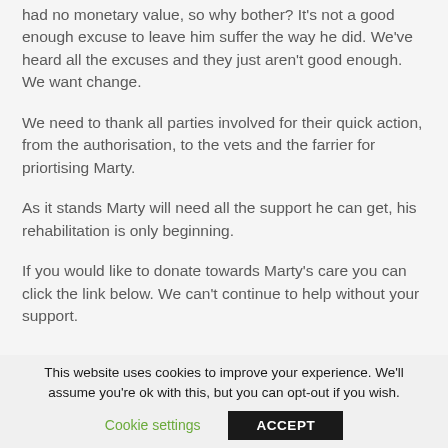had no monetary value, so why bother? It's not a good enough excuse to leave him suffer the way he did. We've heard all the excuses and they just aren't good enough. We want change.
We need to thank all parties involved for their quick action, from the authorisation, to the vets and the farrier for priortising Marty.
As it stands Marty will need all the support he can get, his rehabilitation is only beginning.
If you would like to donate towards Marty's care you can click the link below. We can't continue to help without your support.
This website uses cookies to improve your experience. We'll assume you're ok with this, but you can opt-out if you wish. Cookie settings | ACCEPT